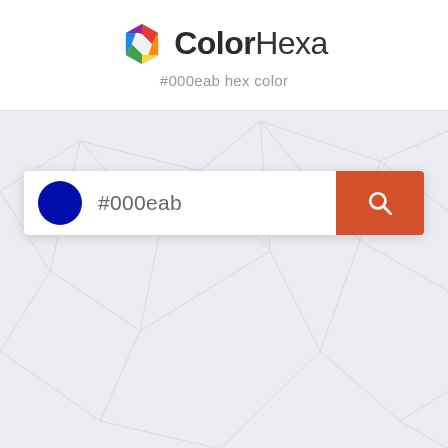[Figure (logo): ColorHexa logo with rainbow hexagon icon and text logo showing bold 'Color' and regular weight 'Hexa']
#000eab hex color
[Figure (screenshot): Search interface with a dark blue circle color preview, text input showing '#000eab', and orange-red search button with magnifying glass icon, on a light grey polygonal background]